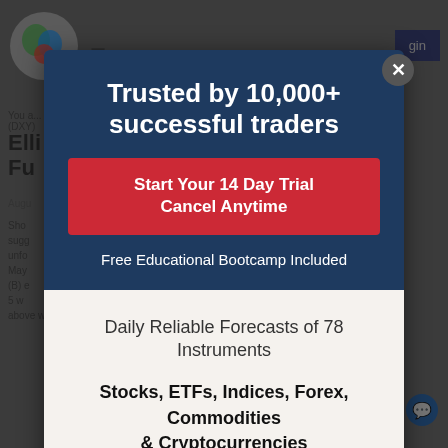[Figure (screenshot): Background webpage showing a financial trading/analysis website with logo, navigation, and article text about Elliott Wave analysis of DXY, partially obscured by modal overlay]
Trusted by 10,000+ successful traders
Start Your 14 Day Trial
Cancel Anytime
Free Educational Bootcamp Included
Daily Reliable Forecasts of 78 Instruments
Stocks, ETFs, Indices, Forex, Commodities & Cryptocurrencies
Live Chat Rooms - Analysis Sessions - Trading Rooms